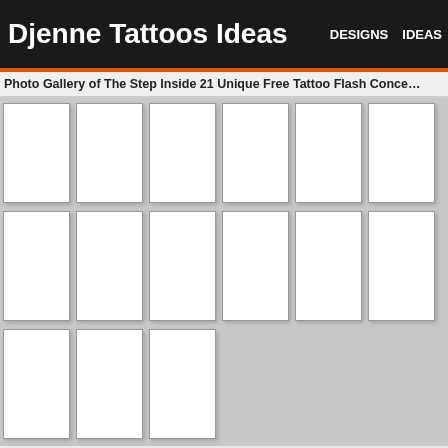Djenne Tattoos Ideas | DESIGNS IDEAS
Photo Gallery of The Step Inside 21 Unique Free Tattoo Flash Conce...
[Figure (photo): Grid of 15 photo placeholder cells arranged in 3 rows: row 1 has 6 cells, row 2 has 6 cells, row 3 has 3 cells]
Related Posts to Step Inside 21 Unique Free T...
[Figure (photo): Two related post image placeholders side by side]